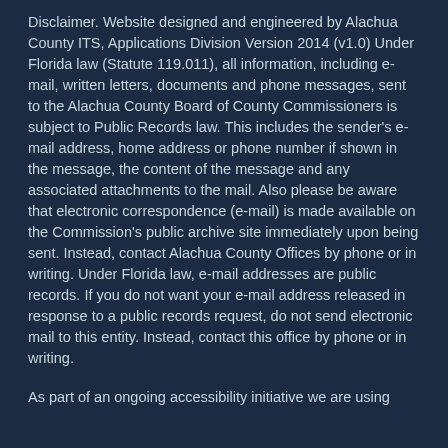Disclaimer. Website designed and engineered by Alachua County ITS, Applications Division Version 2014 (v1.0) Under Florida law (Statute 119.011), all information, including e-mail, written letters, documents and phone messages, sent to the Alachua County Board of County Commissioners is subject to Public Records law. This includes the sender's e-mail address, home address or phone number if shown in the message, the content of the message and any associated attachments to the mail. Also please be aware that electronic correspondence (e-mail) is made available on the Commission's public archive site immediately upon being sent. Instead, contact Alachua County Offices by phone or in writing. Under Florida law, e-mail addresses are public records. If you do not want your e-mail address released in response to a public records request, do not send electronic mail to this entity. Instead, contact this office by phone or in writing.
As part of an ongoing accessibility initiative we are using